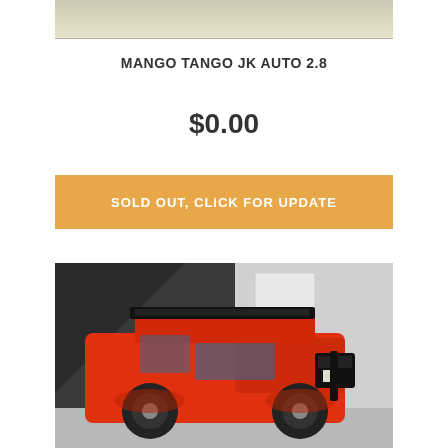[Figure (photo): Top portion of a product/vehicle listing page showing a partial image at the top (beige/cream background)]
MANGO TANGO JK AUTO 2.8
$0.00
SOLD OUT, CLICK FOR UPDATE
[Figure (photo): Red Jeep Wrangler JK with a light bar on the roof, parked in front of a dark building/garage. The vehicle is bright orange-red and is modified with off-road accessories.]